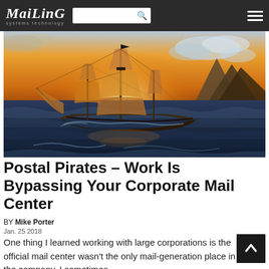Mailing systems technology
[Figure (illustration): A tall sailing ship (galleon) on a rough ocean at dramatic sunset, with golden and orange sky, dark clouds, and a rocky mountain silhouette in the background.]
Postal Pirates – Work Is Bypassing Your Corporate Mail Center
BY Mike Porter
Jan. 25 2018
One thing I learned working with large corporations is the official mail center wasn't the only mail-generation place in the company. I sometimes